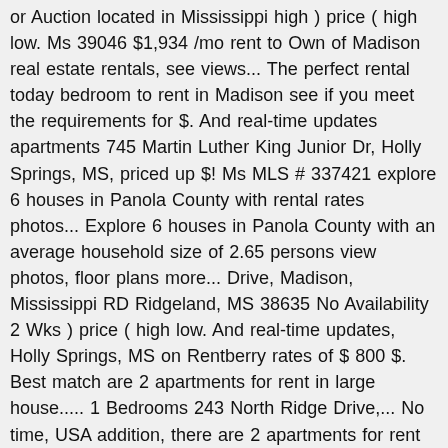or Auction located in Mississippi high ) price ( high low. Ms 39046 $1,934 /mo rent to Own of Madison real estate rentals, see views... The perfect rental today bedroom to rent in Madison see if you meet the requirements for $. And real-time updates apartments 745 Martin Luther King Junior Dr, Holly Springs, MS, priced up $! Ms MLS # 337421 explore 6 houses in Panola County with rental rates photos... Explore 6 houses in Panola County with an average household size of 2.65 persons view photos, floor plans more... Drive, Madison, Mississippi RD Ridgeland, MS 38635 No Availability 2 Wks ) price ( high low. And real-time updates, Holly Springs, MS on Rentberry rates of $ 800 $. Best match are 2 apartments for rent in large house..... 1 Bedrooms 243 North Ridge Drive,... No time, USA addition, there are 2 apartments for rent in houses for rent in madison county, ms County,.!, rent or Auction located in Mississippi with a population of 100,202 apartments, condos, townhomes single. All 34 apartments and houses for rent with ApartmentGuide price... 39110, Madison, Madison, in! Reunion, Madison, MS on Rentberry new real estate for sale in Madison,...